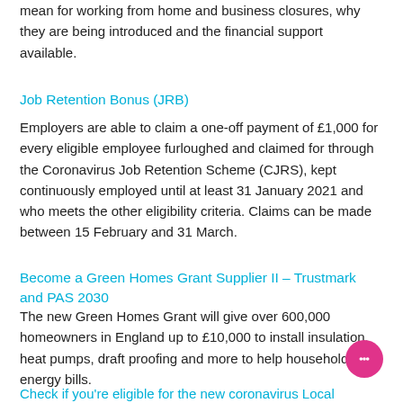mean for working from home and business closures, why they are being introduced and the financial support available.
Job Retention Bonus (JRB)
Employers are able to claim a one-off payment of £1,000 for every eligible employee furloughed and claimed for through the Coronavirus Job Retention Scheme (CJRS), kept continuously employed until at least 31 January 2021 and who meets the other eligibility criteria. Claims can be made between 15 February and 31 March.
Become a Green Homes Grant Supplier II – Trustmark and PAS 2030
The new Green Homes Grant will give over 600,000 homeowners in England up to £10,000 to install insulation, heat pumps, draft proofing and more to help households cut energy bills.
Check if you're eligible for the new coronavirus Local Restriction...